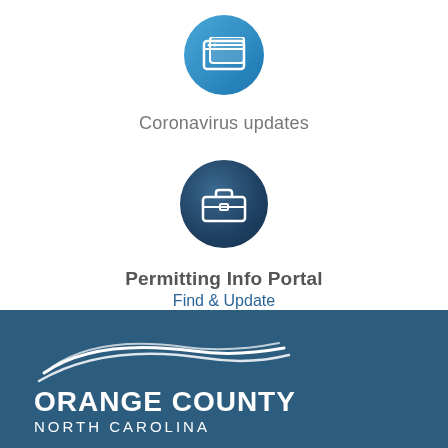[Figure (illustration): Blue circle icon with browser/window icon representing Coronavirus updates]
Coronavirus updates
[Figure (illustration): Dark blue circle icon with briefcase icon representing Permitting Info Portal]
Permitting Info Portal
Find & Update
[Figure (logo): Orange County North Carolina government logo with swoosh graphic on dark blue background]